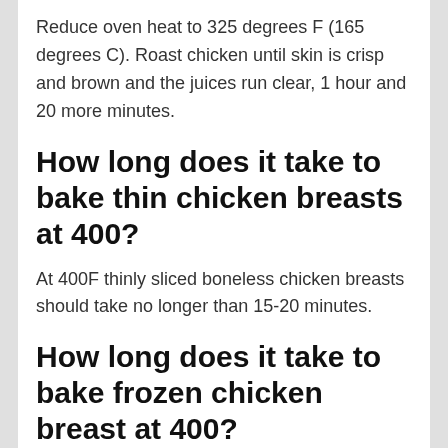Reduce oven heat to 325 degrees F (165 degrees C). Roast chicken until skin is crisp and brown and the juices run clear, 1 hour and 20 more minutes.
How long does it take to bake thin chicken breasts at 400?
At 400F thinly sliced boneless chicken breasts should take no longer than 15-20 minutes.
How long does it take to bake frozen chicken breast at 400?
Spray baking dish with non-stick spray. Place frozen chicken breast in dish. Top with sauce. Bake